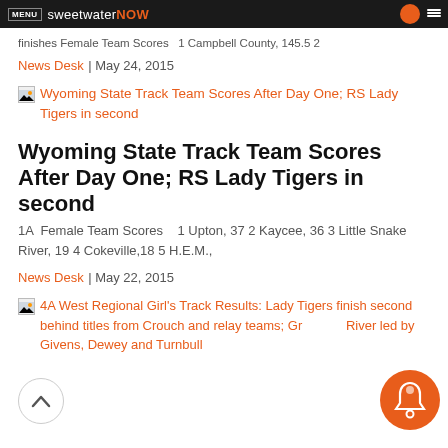MENU sweetwaterNOW
finishes Female Team Scores   1 Campbell County, 145.5 2
News Desk  |  May 24, 2015
[Figure (screenshot): Article thumbnail link: Wyoming State Track Team Scores After Day One; RS Lady Tigers in second]
Wyoming State Track Team Scores After Day One; RS Lady Tigers in second
1A  Female Team Scores    1 Upton, 37 2 Kaycee, 36 3 Little Snake River, 19 4 Cokeville,18 5 H.E.M.,
News Desk  |  May 22, 2015
[Figure (screenshot): Article thumbnail link: 4A West Regional Girl's Track Results: Lady Tigers finish second behind titles from Crouch and relay teams; Green River led by Givens, Dewey and Turnbull]